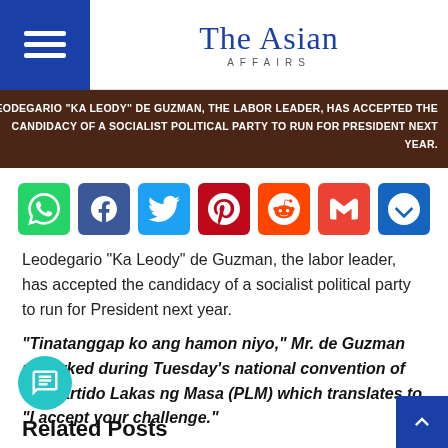The Asian Affairs
[Figure (photo): Hero image with text overlay: LEODEGARIO "KA LEODY" DE GUZMAN, THE LABOR LEADER, HAS ACCEPTED THE CANDIDACY OF A SOCIALIST POLITICAL PARTY TO RUN FOR PRESIDENT NEXT YEAR.]
[Figure (infographic): Social share buttons: WhatsApp, Facebook, Twitter, Pinterest, Reddit, Gmail, More]
Leodegario “Ka Leody” de Guzman, the labor leader, has accepted the candidacy of a socialist political party to run for President next year.
“Tinatanggap ko ang hamon niyo,” Mr. de Guzman remarked during Tuesday’s national convention of the Partido Lakas ng Masa (PLM) which translates to “I accept your challenge.”
Related Posts